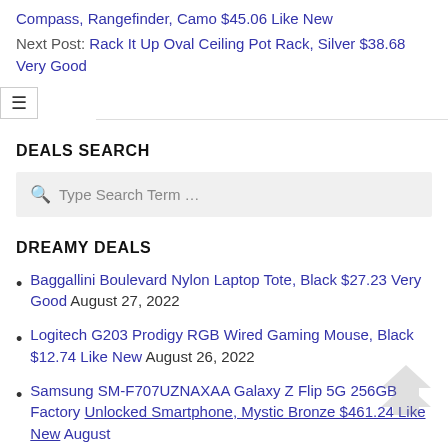Compass, Rangefinder, Camo $45.06 Like New
Next Post: Rack It Up Oval Ceiling Pot Rack, Silver $38.68 Very Good
DEALS SEARCH
Type Search Term …
DREAMY DEALS
Baggallini Boulevard Nylon Laptop Tote, Black $27.23 Very Good August 27, 2022
Logitech G203 Prodigy RGB Wired Gaming Mouse, Black $12.74 Like New August 26, 2022
Samsung SM-F707UZNAXAA Galaxy Z Flip 5G 256GB Factory Unlocked Smartphone, Mystic Bronze $461.24 Like New August